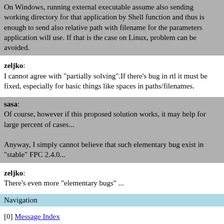On Windows, running external executable assume also sending working directory for that application by Shell function and thus is enough to send also relative path with filename for the parameters application will use. If that is the case on Linux, problem can be avoided.
zeljko: I cannot agree with "partially solving".If there's bug in rtl it must be fixed, especially for basic things like spaces in paths/filenames.
sasa: Of course, however if this proposed solution works, it may help for large percent of cases...

Anyway, I simply cannot believe that such elementary bug exist in "stable" FPC 2.4.0...
zeljko: There's even more "elementary bugs" ...
Navigation
[0] Message Index
[#] Next page